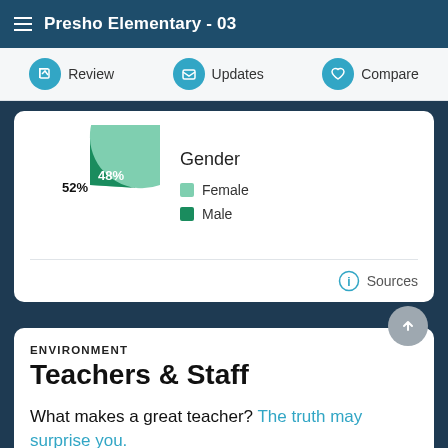Presho Elementary - 03
[Figure (pie-chart): Gender]
Sources
ENVIRONMENT
Teachers & Staff
What makes a great teacher? The truth may surprise you.